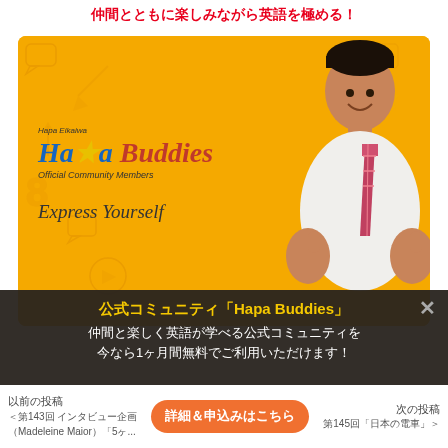仲間とともに楽しみながら英語を極める！
[Figure (photo): Hapa Buddies Official Community Members banner. Orange/yellow background with decorative icons. Logo reads 'Hapa Eikaiwa Hapa Buddies Official Community Members' and tagline 'Express Yourself'. Man in white shirt and tie giving thumbs up on right side.]
公式コミュニティ「Hapa Buddies」
仲間と楽しく英語が学べる公式コミュニティを
今なら1ヶ月間無料でご利用いただけます！
以前の投稿
詳細＆申込みはこちら
次の投稿
＜第143回 インタビュー企画
（Madeleine Maior）「5ヶ...
第145回「日本の電車」＞